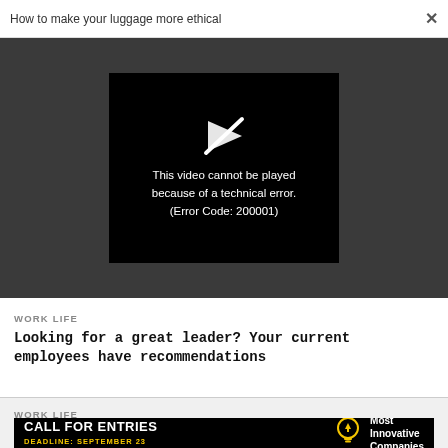How to make your luggage more ethical  ×
[Figure (screenshot): Video player showing error: 'This video cannot be played because of a technical error. (Error Code: 200001)' on black background inside dark gray video area]
This video cannot be played because of a technical error. (Error Code: 200001)
WORK LIFE
Looking for a great leader? Your current employees have recommendations
WORK LIFE
[Figure (infographic): Advertisement banner: CALL FOR ENTRIES, DEADLINE: SEPTEMBER 23, Most Innovative Companies, with lightbulb icon]